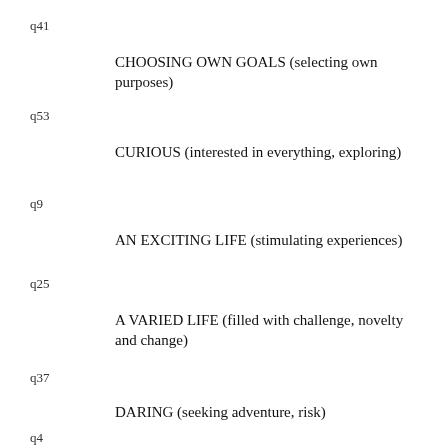q41
CHOOSING OWN GOALS (selecting own purposes)
q53
CURIOUS (interested in everything, exploring)
q9
AN EXCITING LIFE (stimulating experiences)
q25
A VARIED LIFE (filled with challenge, novelty and change)
q37
DARING (seeking adventure, risk)
q4